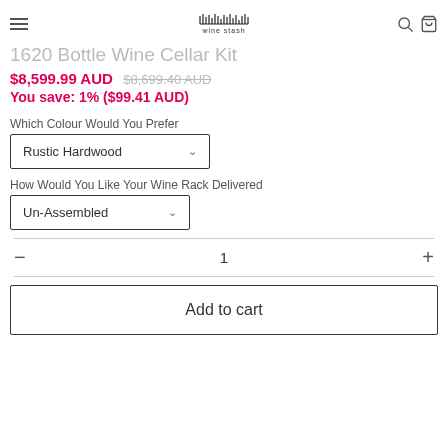Wine Stash - 1620 Bottle Wine Cellar Kit
1620 Bottle Wine Cellar Kit
$8,599.99 AUD $8,699.40 AUD
You save: 1% ($99.41 AUD)
Which Colour Would You Prefer
Rustic Hardwood
How Would You Like Your Wine Rack Delivered
Un-Assembled
1
Add to cart